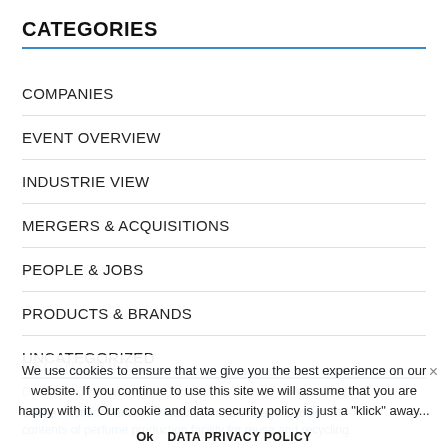CATEGORIES
COMPANIES
EVENT OVERVIEW
INDUSTRIE VIEW
MERGERS & ACQUISITIONS
PEOPLE & JOBS
PRODUCTS & BRANDS
UNCATEGORIZED
RECENT POSTS
We use cookies to ensure that we give you the best experience on our website. If you continue to use this site we will assume that you are happy with it. Our cookie and data security policy is just a "klick" away...
Ok   DATA PRIVACY POLICY